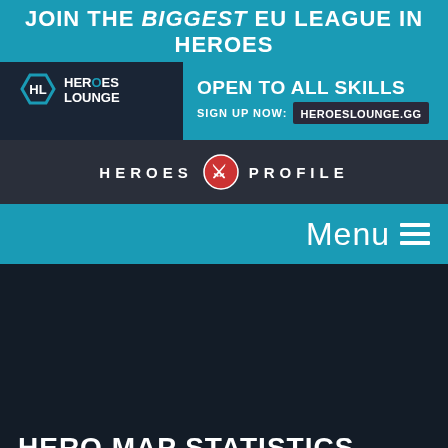[Figure (infographic): Heroes Lounge banner ad - JOIN THE BIGGEST EU LEAGUE IN HEROES, OPEN TO ALL SKILLS, SIGN UP NOW: HEROESLOUNGE.GG]
HEROES PROFILE
Menu
HERO MAP STATISTICS
Heroes Profile is funded by its developers. If you like the site, consider donating to